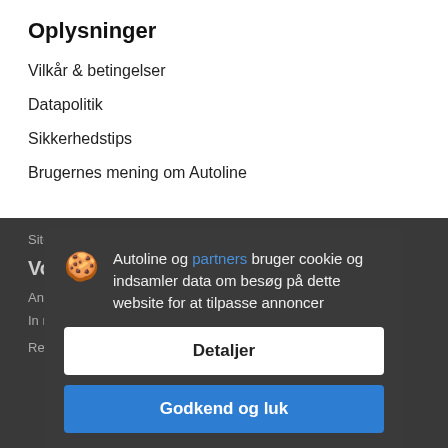Oplysninger
Vilkår & betingelser
Datapolitik
Sikkerhedstips
Brugernes mening om Autoline
Sitemap
Vores t...
Annoncér hos Autoline
In nye annorice
Reklampruotion
[Figure (screenshot): Cookie consent popup overlay on dark background. Contains cookie emoji icon, text 'Autoline og partners bruger cookie og indsamler data om besøg på dette website for at tilpasse annoncer', a 'Detaljer' button (white background), and a 'Godkend og luk' button (blue background).]